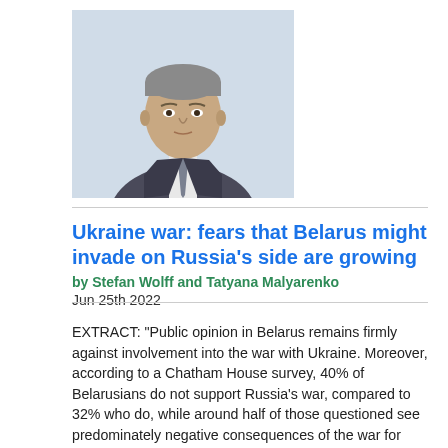[Figure (photo): Headshot of a middle-aged man in a suit and tie against a light background]
Ukraine war: fears that Belarus might invade on Russia's side are growing
by Stefan Wolff and Tatyana Malyarenko
Jun 25th 2022
EXTRACT: "Public opinion in Belarus remains firmly against involvement into the war with Ukraine. Moreover, according to a Chatham House survey, 40% of Belarusians do not support Russia's war, compared to 32% who do, while around half of those questioned see predominately negative consequences of the war for Belarus (53%) and for themselves (48%). The Belarusian military and security services are also aware of the determined and skilful resistance that Ukrainian forces have put up against Russia and the risks that they would